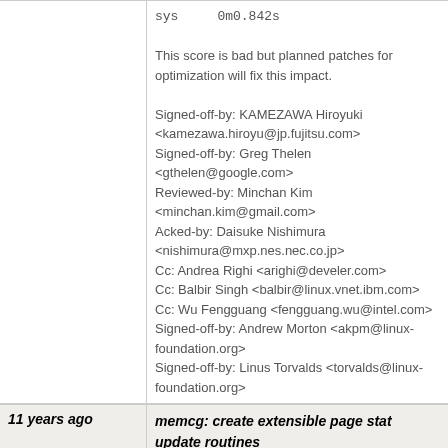sys    0m0.842s
This score is bad but planned patches for optimization will fix this impact.
Signed-off-by: KAMEZAWA Hiroyuki <kamezawa.hiroyu@jp.fujitsu.com>
Signed-off-by: Greg Thelen <gthelen@google.com>
Reviewed-by: Minchan Kim <minchan.kim@gmail.com>
Acked-by: Daisuke Nishimura <nishimura@mxp.nes.nec.co.jp>
Cc: Andrea Righi <arighi@develer.com>
Cc: Balbir Singh <balbir@linux.vnet.ibm.com>
Cc: Wu Fengguang <fengguang.wu@intel.com>
Signed-off-by: Andrew Morton <akpm@linux-foundation.org>
Signed-off-by: Linus Torvalds <torvalds@linux-foundation.org>
11 years ago
memcg: create extensible page stat update routines
commit | commitdiff | tree  Greg Thelen [Thu, 13 Jan 2011 23:47:37 +0000 (15:47 -0800)]
memcg: create extensible page stat update routines
Replace usage of the mem_cgroup_update_file_